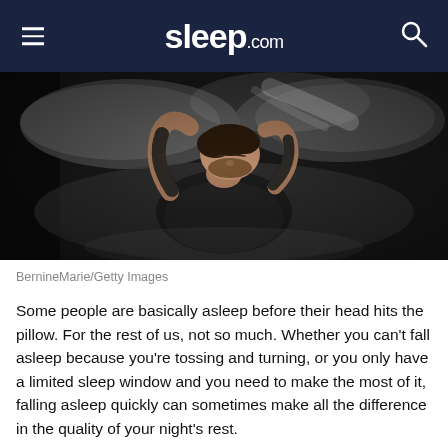sleep.com
[Figure (photo): Overhead view of a man with a beard lying on a bed with dark sheets and pillows, arms behind his head, eyes closed, wearing a black shirt. Dark, moody lighting from above.]
BernineMarie/Getty Images
Some people are basically asleep before their head hits the pillow. For the rest of us, not so much. Whether you can’t fall asleep because you’re tossing and turning, or you only have a limited sleep window and you need to make the most of it, falling asleep quickly can sometimes make all the difference in the quality of your night’s rest.
Luckily, there are a few ways to make sleep happen...